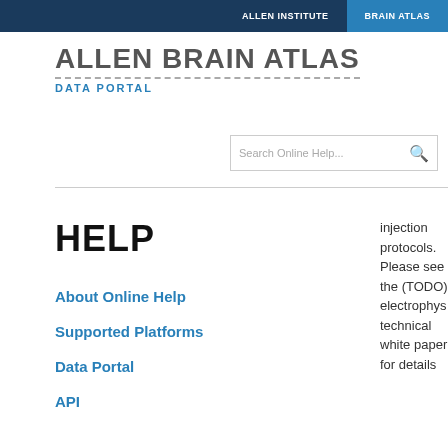ALLEN INSTITUTE   BRAIN ATLAS
ALLEN BRAIN ATLAS
DATA PORTAL
Search Online Help...
HELP
About Online Help
Supported Platforms
Data Portal
API
injection protocols. Please see the (TODO) electrophys technical white paper for details